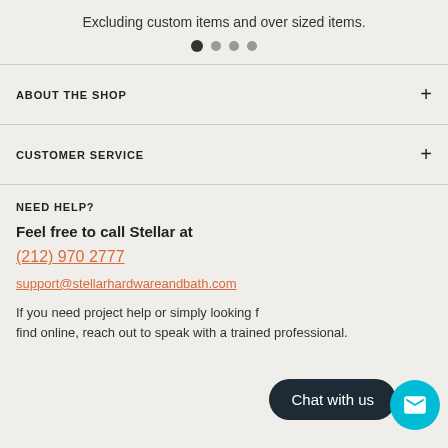Excluding custom items and over sized items.
[Figure (other): Pagination dots: one filled dark circle followed by three smaller grey circles]
ABOUT THE SHOP
CUSTOMER SERVICE
NEED HELP?
Feel free to call Stellar at
(212) 970 2777
support@stellarhardwareandbath.com
If you need project help or simply looking f... find online, reach out to speak with a trained professional.